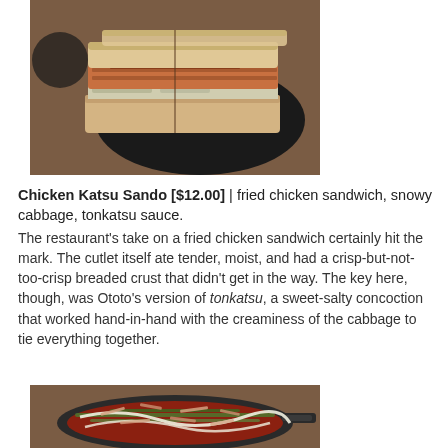[Figure (photo): A chicken katsu sando (sandwich) sliced in half and placed on a dark round plate, showing layered fried chicken cutlet with cabbage and tonkatsu sauce between thick white bread slices]
Chicken Katsu Sando [$12.00] | fried chicken sandwich, snowy cabbage, tonkatsu sauce.
The restaurant's take on a fried chicken sandwich certainly hit the mark. The cutlet itself ate tender, moist, and had a crisp-but-not-too-crisp breaded crust that didn't get in the way. The key here, though, was Ototo's version of tonkatsu, a sweet-salty concoction that worked hand-in-hand with the creaminess of the cabbage to tie everything together.
[Figure (photo): A cast iron skillet containing a Japanese dish topped with shredded bonito flakes, green onions, mayonnaise, and other toppings, on a wooden table]